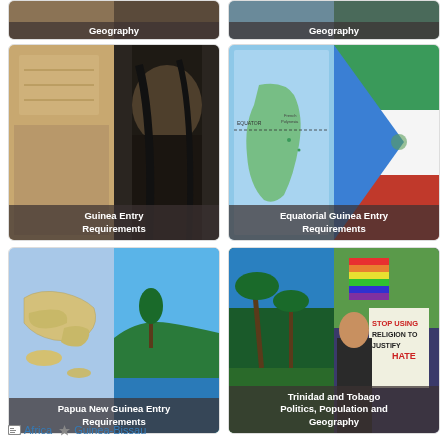[Figure (photo): Two partial card thumbnails at top — Geography labels visible]
[Figure (photo): Guinea Entry Requirements card with woman image]
[Figure (photo): Equatorial Guinea Entry Requirements card with map and flag]
[Figure (photo): Papua New Guinea Entry Requirements card with island map]
[Figure (photo): Trinidad and Tobago Politics, Population and Geography card]
Africa  Guinea-Bissau